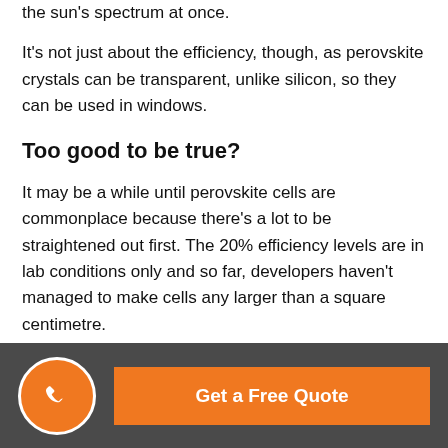the sun's spectrum at once.
It's not just about the efficiency, though, as perovskite crystals can be transparent, unlike silicon, so they can be used in windows.
Too good to be true?
It may be a while until perovskite cells are commonplace because there's a lot to be straightened out first. The 20% efficiency levels are in lab conditions only and so far, developers haven't managed to make cells any larger than a square centimetre.
Researchers are making progress, however, and are trying new techniques to produce larger cells, comparable to our
Get a Free Quote